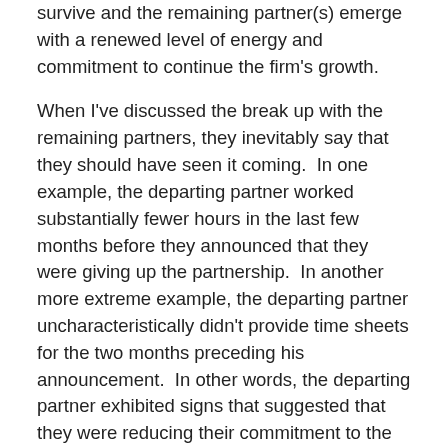survive and the remaining partner(s) emerge with a renewed level of energy and commitment to continue the firm's growth.
When I've discussed the break up with the remaining partners, they inevitably say that they should have seen it coming.  In one example, the departing partner worked substantially fewer hours in the last few months before they announced that they were giving up the partnership.  In another more extreme example, the departing partner uncharacteristically didn't provide time sheets for the two months preceding his announcement.  In other words, the departing partner exhibited signs that suggested that they were reducing their commitment to the firm.  The announcement of the decision to leave was abrupt, but the process of checking out emotionally was not.
Thus, if you want to avoid the drama and stress that comes from a shot gun law firm business divorce, you